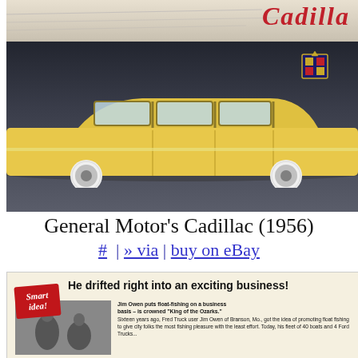[Figure (photo): Vintage 1956 General Motor's Cadillac advertisement showing a yellow Cadillac sedan against a dark background, with the Cadillac script logo in red at top right and emblem visible.]
General Motor's Cadillac (1956)
# | » via | buy on eBay
[Figure (photo): Vintage advertisement with red 'Smart idea!' badge, headline 'He drifted right into an exciting business!', showing Jim Owen who put float-fishing on a business basis and is crowned 'King of the Ozarks'. Text mentions: 'Jim Owen puts float-fishing on a business basis – is crowned "King of the Ozarks."' and 'Sixteen years ago, Fred Truck user Jim Owen of Branson, Mo., got the idea of promoting float fishing to give city folks the most fishing pleasure with the least effort. Today, his fleet...']